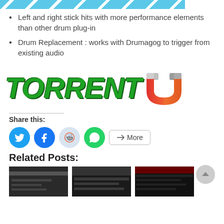[Figure (other): Blue diagonal striped header banner]
Left and right stick hits with more performance elements than other drum plug-in
Drum Replacement : works with Drumagog to trigger from existing audio
[Figure (logo): TorrentU logo with green italic bold text TORRENT and a magnet icon in red-orange gradient]
Share this:
[Figure (other): Social share buttons: Twitter, Facebook, Reddit, WhatsApp, and More]
Related Posts:
[Figure (other): Three thumbnail images for related posts]